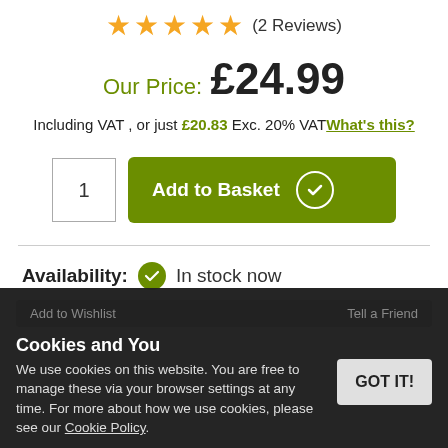★★★★★ (2 Reviews)
Our Price: £24.99
Including VAT , or just £20.83 Exc. 20% VAT What's this?
[Figure (screenshot): Quantity box showing '1' and green 'Add to Basket' button with checkmark icon]
Availability: In stock now
Cookies and You
We use cookies on this website. You are free to manage these via your browser settings at any time. For more about how we use cookies, please see our Cookie Policy.